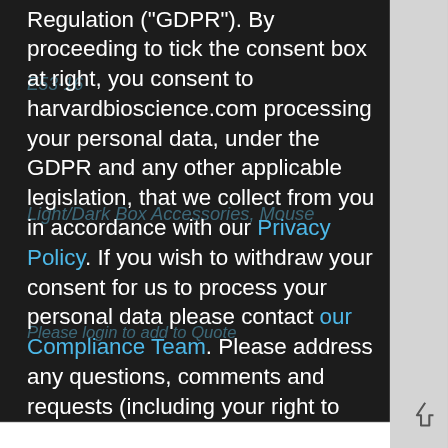Regulation ("GDPR"). By proceeding to tick the consent box at right, you consent to harvardbioscience.com processing your personal data, under the GDPR and any other applicable legislation, that we collect from you in accordance with our Privacy Policy. If you wish to withdraw your consent for us to process your personal data please contact our Compliance Team. Please address any questions, comments and requests (including your right to withdraw your consent to process your personal data) regarding our data processing practices to our Compliance Team.
Qty
Allow
Please login to add to Quote
Item #